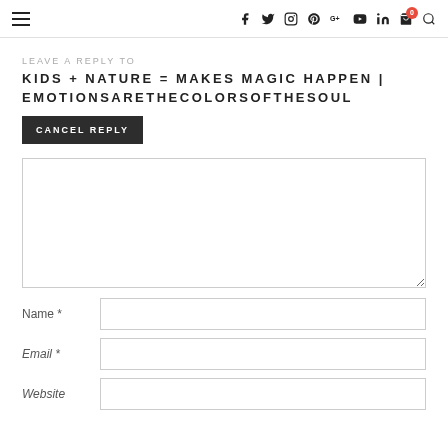Navigation bar with hamburger menu and social icons: f, twitter, instagram, pinterest, G+, youtube, linkedin, cart (0), search
LEAVE A REPLY TO
KIDS + NATURE = MAKES MAGIC HAPPEN | EMOTIONSARETHECOLORSOFTHESOUL
CANCEL REPLY
(Comment textarea)
Name *
Email *
Website